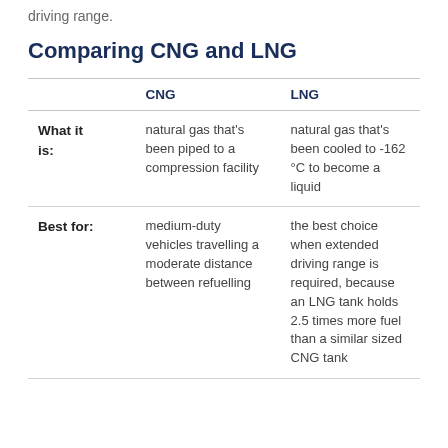driving range.
Comparing CNG and LNG
|  | CNG | LNG |
| --- | --- | --- |
| What it is: | natural gas that's been piped to a compression facility | natural gas that's been cooled to -162 °C to become a liquid |
| Best for: | medium-duty vehicles travelling a moderate distance between refuelling | the best choice when extended driving range is required, because an LNG tank holds 2.5 times more fuel than a similar sized CNG tank |